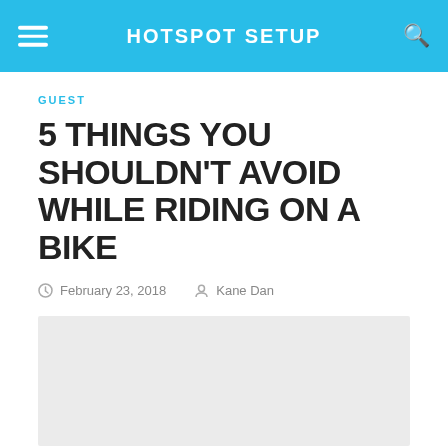HOTSPOT SETUP
GUEST
5 THINGS YOU SHOULDN'T AVOID WHILE RIDING ON A BIKE
February 23, 2018   Kane Dan
[Figure (photo): Light gray placeholder image for article illustration]